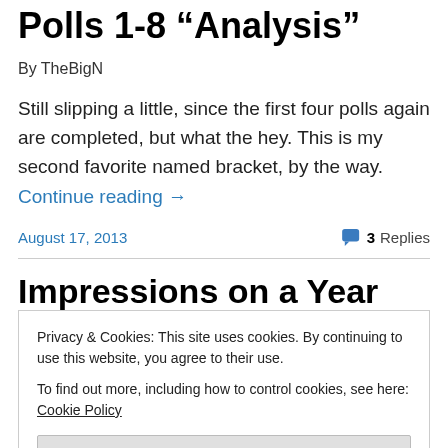Polls 1-8 "Analysis"
By TheBigN
Still slipping a little, since the first four polls again are completed, but what the hey. This is my second favorite named bracket, by the way. Continue reading →
August 17, 2013   3 Replies
Impressions on a Year 2008:
Privacy & Cookies: This site uses cookies. By continuing to use this website, you agree to their use.
To find out more, including how to control cookies, see here: Cookie Policy
Close and accept